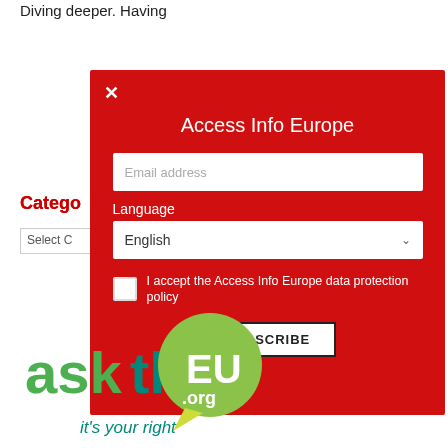Diving deeper. Having
Categories
Select C...
[Figure (screenshot): Red modal popup for Access Info Europe newsletter subscription with email address field, Language dropdown set to English, data protection policy checkbox, and SUBSCRIBE button]
[Figure (logo): asktheEU.org - it's your right logo with green speech bubble]